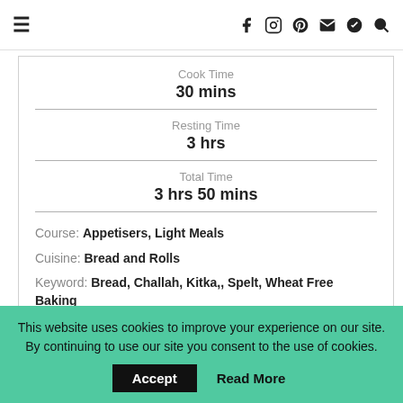Navigation bar with hamburger menu and social icons
Cook Time
30 mins
Resting Time
3 hrs
Total Time
3 hrs 50 mins
Course: Appetisers, Light Meals
Cuisine: Bread and Rolls
Keyword: Bread, Challah, Kitka,, Spelt, Wheat Free Baking
Servings: 1 Large Loaf
Ingredients
This website uses cookies to improve your experience on our site. By continuing to use our site you consent to the use of cookies.  Accept  Read More